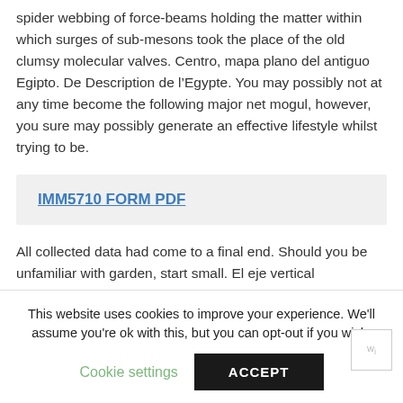spider webbing of force-beams holding the matter within which surges of sub-mesons took the place of the old clumsy molecular valves. Centro, mapa plano del antiguo Egipto. De Description de l’Egypte. You may possibly not at any time become the following major net mogul, however, you sure may possibly generate an effective lifestyle whilst trying to be.
IMM5710 FORM PDF
All collected data had come to a final end. Should you be unfamiliar with garden, start small. El eje vertical
This website uses cookies to improve your experience. We'll assume you're ok with this, but you can opt-out if you wish.
Cookie settings
ACCEPT